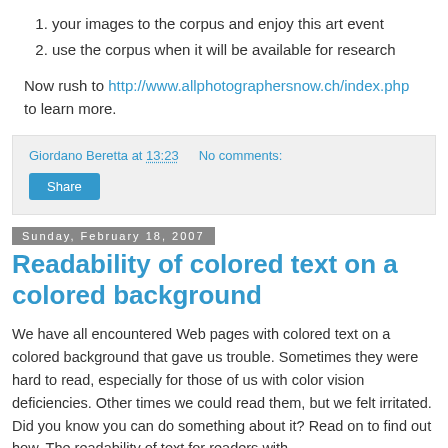your images to the corpus and enjoy this art event
use the corpus when it will be available for research
Now rush to http://www.allphotographersnow.ch/index.php to learn more.
Giordano Beretta at 13:23   No comments:
Share
Sunday, February 18, 2007
Readability of colored text on a colored background
We have all encountered Web pages with colored text on a colored background that gave us trouble. Sometimes they were hard to read, especially for those of us with color vision deficiencies. Other times we could read them, but we felt irritated. Did you know you can do something about it? Read on to find out how. The readability of text for readers with